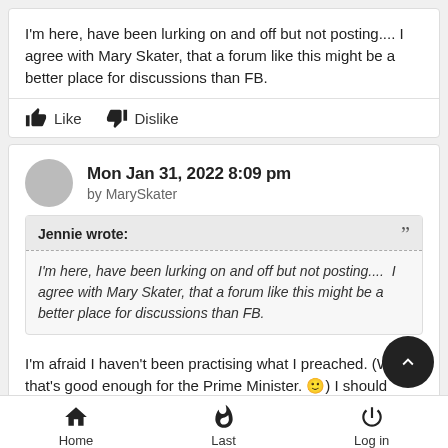I'm here, have been lurking on and off but not posting.... I agree with Mary Skater, that a forum like this might be a better place for discussions than FB.
Like   Dislike
Mon Jan 31, 2022 8:09 pm by MarySkater
Jennie wrote:
I'm here, have been lurking on and off but not posting....  I agree with Mary Skater, that a forum like this might be a better place for discussions than FB.
I'm afraid I haven't been practising what I preached. (Well, if that's good enough for the Prime Minister. 🙂) I should check
Home   Last   Log in